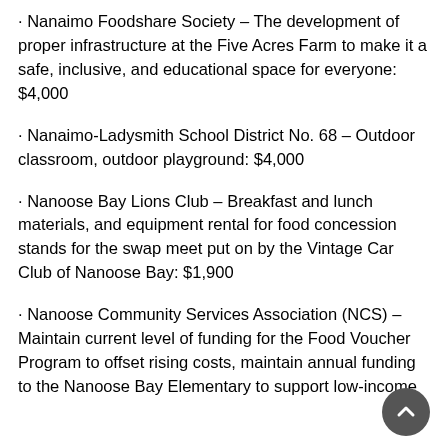· Nanaimo Foodshare Society – The development of proper infrastructure at the Five Acres Farm to make it a safe, inclusive, and educational space for everyone: $4,000
· Nanaimo-Ladysmith School District No. 68 – Outdoor classroom, outdoor playground: $4,000
· Nanoose Bay Lions Club – Breakfast and lunch materials, and equipment rental for food concession stands for the swap meet put on by the Vintage Car Club of Nanoose Bay: $1,900
· Nanoose Community Services Association (NCS) – Maintain current level of funding for the Food Voucher Program to offset rising costs, maintain annual funding to the Nanoose Bay Elementary to support low-income